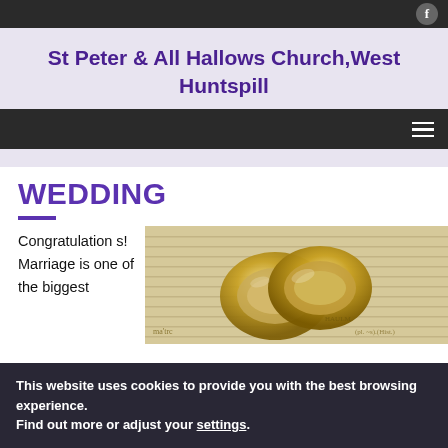St Peter & All Hallows Church,West Huntspill
WEDDING
Congratulations! Marriage is one of the biggest
[Figure (photo): Two gold wedding rings resting on an open dictionary page]
This website uses cookies to provide you with the best browsing experience.
Find out more or adjust your settings.